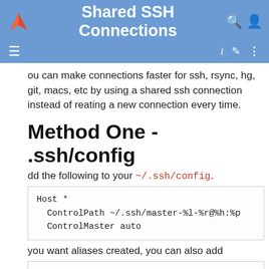Shared SSH Connections
ou can make connections faster for ssh, rsync, hg, git, macs, etc by using a shared ssh connection instead of reating a new connection every time.
Method One - .ssh/config
dd the following to your ~/.ssh/config.
Host *
  ControlPath ~/.ssh/master-%l-%r@%h:%p
  ControlMaster auto
you want aliases created, you can also add
Host machine1
  User yourname
  HostName machine1.long.name.domain.com